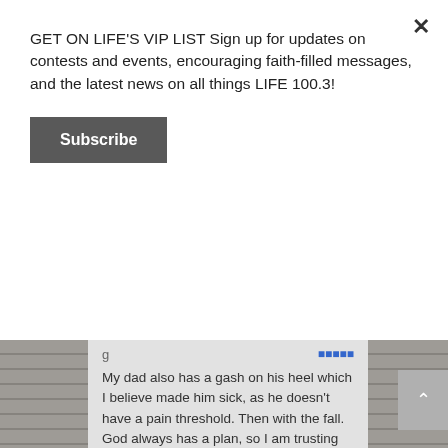GET ON LIFE'S VIP LIST Sign up for updates on contests and events, encouraging faith-filled messages, and the latest news on all things LIFE 100.3!
Subscribe
My dad also has a gash on his heel which I believe made him sick, as he doesn't have a pain threshold. Then with the fall. God always has a plan, so I am trusting God needs him at the hospital right now. Perhaps this fall has saved his life. Or that he needs to witness to others in the hospital. This is a definite true meaning of giving of a persons self for God's glory. To